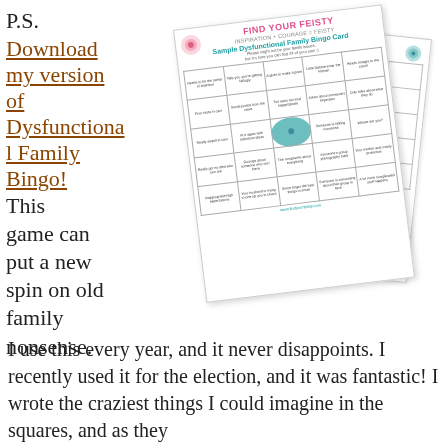P.S.
Download my version of Dysfunctional Family Bingo! This game can put a new spin on old family nonsense.
[Figure (illustration): Two overlapping 'Find Your Feisty' Dysfunctional Family Bingo cards, one rotated slightly to the left and one to the right, showing a 5x5 bingo grid with small text in each cell and a flower/mandala free space in the center.]
I use this every year, and it never disappoints. I recently used it for the election, and it was fantastic! I wrote the craziest things I could imagine in the squares, and as they